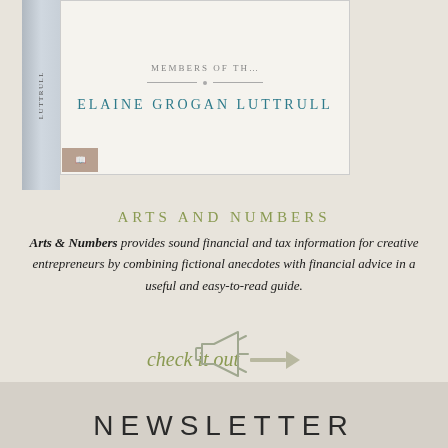[Figure (illustration): Book cover illustration showing a book with spine and white card front. Author name ELAINE GROGAN LUTTRULL in teal lettering, with decorative divider line and dot, and small text reading MEMBERS OF TH... at top.]
ARTS AND NUMBERS
Arts & Numbers provides sound financial and tax information for creative entrepreneurs by combining fictional anecdotes with financial advice in a useful and easy-to-read guide.
check it out →
[Figure (illustration): Outline illustration of a megaphone/bullhorn pointing left]
NEWSLETTER